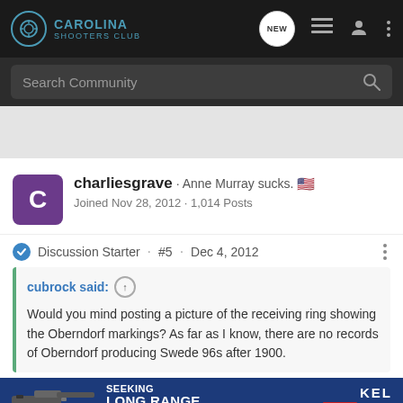Carolina Shooters Club
Search Community
charliesgrave · Anne Murray sucks. 🇺🇸
Joined Nov 28, 2012 · 1,014 Posts
Discussion Starter · #5 · Dec 4, 2012
cubrock said:
Would you mind posting a picture of the receiving ring showing the Oberndorf markings? As far as I know, there are no records of Oberndorf producing Swede 96s after 1900.
[Figure (screenshot): Kel-Tec CP33 pistol advertisement banner: SEEKING LONG RANGE RELATIONSHIP THE CP33 PISTOL]
Had to d... are